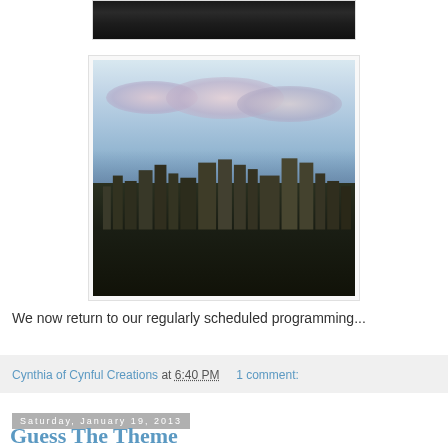[Figure (photo): Partial view of a dark cityscape at night — top portion of image cut off, showing dark treeline and buildings against a very dark background.]
[Figure (photo): Photograph of a city skyline at dusk with pink and purple clouds in a blue-grey sky above dark silhouetted buildings and trees in the foreground.]
We now return to our regularly scheduled programming...
Cynthia of Cynful Creations at 6:40 PM    1 comment:
Saturday, January 19, 2013
Guess The Theme